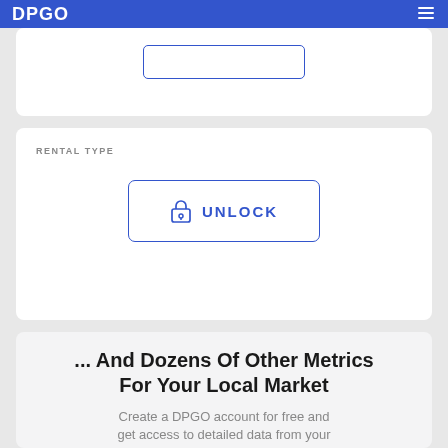DPGO
[Figure (screenshot): Input field box with blue border, centered in white card]
RENTAL TYPE
[Figure (screenshot): Unlock button with lock icon and text UNLOCK, blue border, centered in white card]
... And Dozens Of Other Metrics For Your Local Market
Create a DPGO account for free and get access to detailed data from your local market